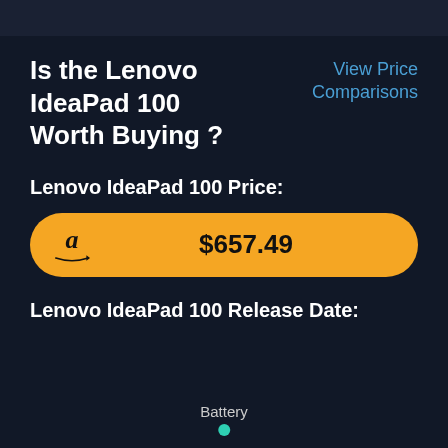Is the Lenovo IdeaPad 100 Worth Buying ?
View Price Comparisons
Lenovo IdeaPad 100 Price:
$657.49
Lenovo IdeaPad 100 Release Date:
Battery